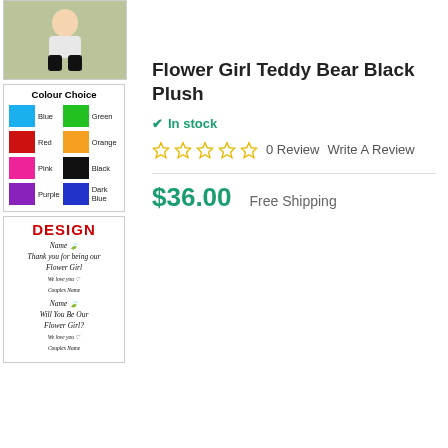[Figure (photo): Baby/toddler sitting on floor wearing black and white outfit, teddy bear product photo thumbnail]
[Figure (infographic): Colour Choice chart showing swatches: Blue, Green, Red, Orange, Pink, Black, Purple, Dark Blue]
[Figure (infographic): Design preview showing red DESIGN heading and two script text blocks for Flower Girl personalization]
Flower Girl Teddy Bear Black Plush
In stock
0 Review  Write A Review
$36.00  Free Shipping